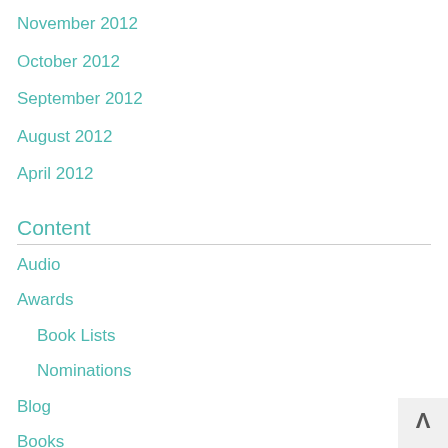November 2012
October 2012
September 2012
August 2012
April 2012
Content
Audio
Awards
Book Lists
Nominations
Blog
Books